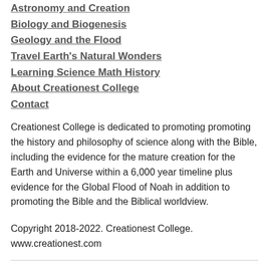Astronomy and Creation
Biology and Biogenesis
Geology and the Flood
Travel Earth's Natural Wonders
Learning Science Math History
About Creationest College
Contact
Creationest College is dedicated to promoting promoting the history and philosophy of science along with the Bible, including the evidence for the mature creation for the Earth and Universe within a 6,000 year timeline plus evidence for the Global Flood of Noah in addition to promoting the Bible and the Biblical worldview.
Copyright 2018-2022. Creationest College.
www.creationest.com